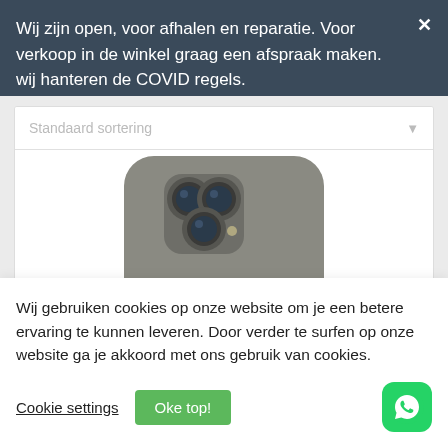Wij zijn open, voor afhalen en reparatie. Voor verkoop in de winkel graag een afspraak maken. wij hanteren de COVID regels.
[Figure (screenshot): Product listing page with dropdown labeled 'Standaard sortering' and partially visible iPhone product image showing the back camera module]
Wij gebruiken cookies op onze website om je een betere ervaring te kunnen leveren. Door verder te surfen op onze website ga je akkoord met ons gebruik van cookies.
Cookie settings
Oke top!